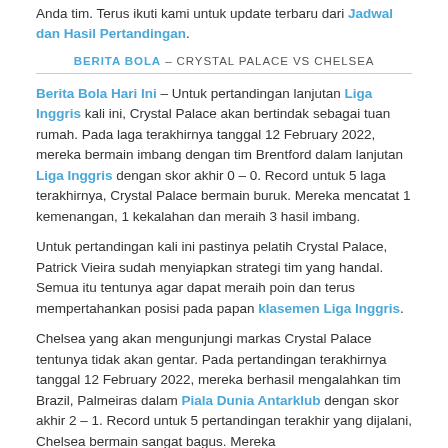Anda tim. Terus ikuti kami untuk update terbaru dari Jadwal dan Hasil Pertandingan.
BERITA BOLA – CRYSTAL PALACE VS CHELSEA
Berita Bola Hari Ini – Untuk pertandingan lanjutan Liga Inggris kali ini, Crystal Palace akan bertindak sebagai tuan rumah. Pada laga terakhirnya tanggal 12 February 2022, mereka bermain imbang dengan tim Brentford dalam lanjutan Liga Inggris dengan skor akhir 0 – 0. Record untuk 5 laga terakhirnya, Crystal Palace bermain buruk. Mereka mencatat 1 kemenangan, 1 kekalahan dan meraih 3 hasil imbang.
Untuk pertandingan kali ini pastinya pelatih Crystal Palace, Patrick Vieira sudah menyiapkan strategi tim yang handal. Semua itu tentunya agar dapat meraih poin dan terus mempertahankan posisi pada papan klasemen Liga Inggris.
Chelsea yang akan mengunjungi markas Crystal Palace tentunya tidak akan gentar. Pada pertandingan terakhirnya tanggal 12 February 2022, mereka berhasil mengalahkan tim Brazil, Palmeiras dalam Piala Dunia Antarklub dengan skor akhir 2 – 1. Record untuk 5 pertandingan terakhir yang dijalani, Chelsea bermain sangat bagus. Mereka